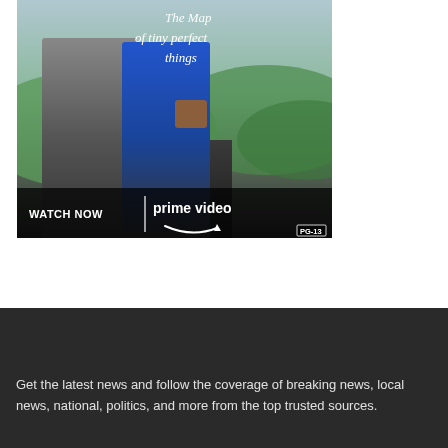[Figure (photo): Amazon Prime Video advertisement for 'The Map of Tiny Perfect Things'. Shows two figures (one in grey, one in blue) walking together, with handwritten-style title text, 'WATCH NOW | prime video' banner at the bottom, and a PG-13 rating badge.]
Get the latest news and follow the coverage of breaking news, local news, national, politics, and more from the top trusted sources.